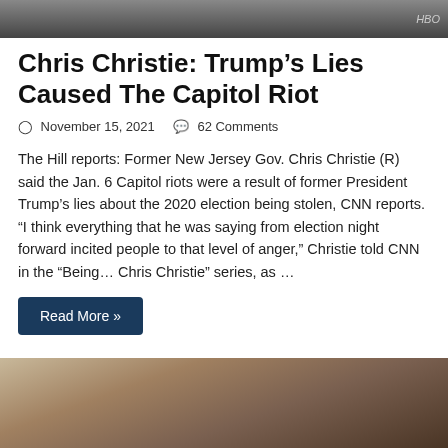[Figure (photo): Top cropped photo showing two people, partially visible, with HBO logo visible in the corner]
Chris Christie: Trump’s Lies Caused The Capitol Riot
○ November 15, 2021    💬 62 Comments
The Hill reports: Former New Jersey Gov. Chris Christie (R) said the Jan. 6 Capitol riots were a result of former President Trump’s lies about the 2020 election being stolen, CNN reports. “I think everything that he was saying from election night forward incited people to that level of anger,” Christie told CNN in the “Being… Chris Christie” series, as …
Read More »
[Figure (photo): Bottom portion of page showing a cropped photo of a man’s face (Chris Christie), partially visible from nose up]